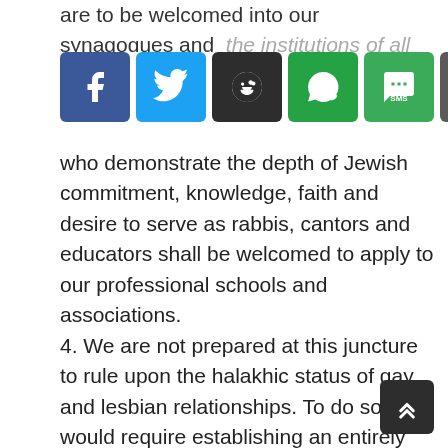are to be welcomed into our synagogues and the institutions of all our denominations
[Figure (infographic): Social share buttons: Facebook (blue), Twitter (light blue), Reddit (dark), WhatsApp (green), SMS (green), Email (grey)]
who demonstrate the depth of Jewish commitment, knowledge, faith and desire to serve as rabbis, cantors and educators shall be welcomed to apply to our professional schools and associations. 4. We are not prepared at this juncture to rule upon the halakhic status of gay and lesbian relationships. To do so would require establishing an entirely new institution in Jewish law that treats not only the ceremonies and legal instruments appropriate for creating homosexual unions but also the norms for the dissolution of such unions. This responsum does not provide